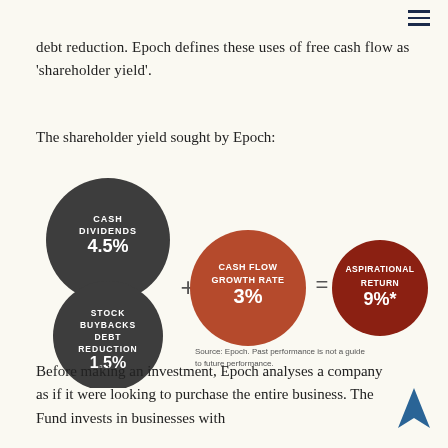≡
debt reduction. Epoch defines these uses of free cash flow as 'shareholder yield'.
The shareholder yield sought by Epoch:
[Figure (infographic): Three circles showing shareholder yield components: Cash Dividends 4.5% + Stock Buybacks Debt Reduction 1.5% + Cash Flow Growth Rate 3% = Aspirational Return 9%*. With source note: Source: Epoch. Past performance is not a guide to future performance.]
Before making an investment, Epoch analyses a company as if it were looking to purchase the entire business. The Fund invests in businesses with